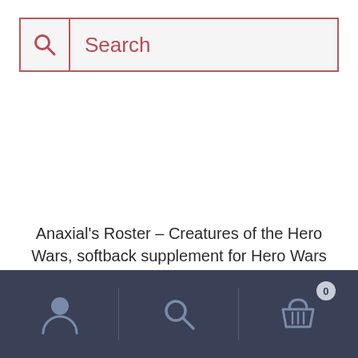[Figure (screenshot): Search bar UI element with a magnifying glass icon on the left and placeholder text 'Search' on the right, styled with a red/pink border on a light grey background.]
Anaxial's Roster – Creatures of the Hero Wars, softback supplement for Hero Wars
[Figure (screenshot): Bottom navigation bar with dark navy background containing three icons: a user/person icon (left), a search/magnifying glass icon (center), and a shopping basket icon with badge showing '0' (right).]